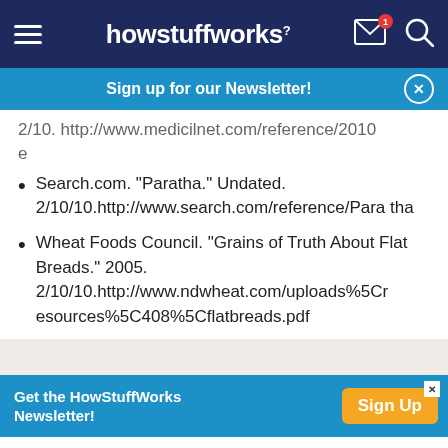howstuffworks
Sign up for our Newsletter!
2/10. http://www.medicilnet.com/reference/2010 e
Search.com. "Paratha." Undated. 2/10/10.http://www.search.com/reference/Paratha
Wheat Foods Council. "Grains of Truth About Flat Breads." 2005. 2/10/10.http://www.ndwheat.com/uploads%5Cresources%5C408%5Cflatbreads.pdf